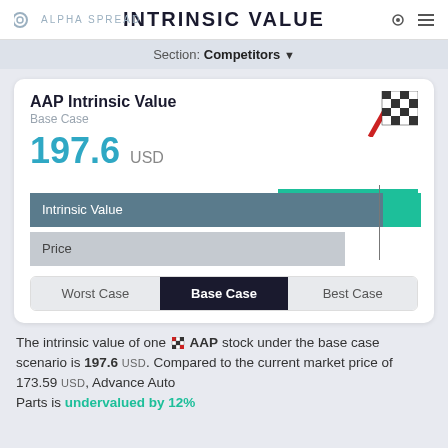INTRINSIC VALUE
Section: Competitors
AAP Intrinsic Value
Base Case
197.6 USD
[Figure (bar-chart): Undervaluation 12%]
Worst Case  Base Case  Best Case
The intrinsic value of one AAP stock under the base case scenario is 197.6 USD. Compared to the current market price of 173.59 USD, Advance Auto Parts is undervalued by 12%.